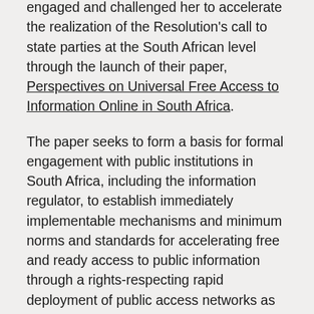engaged and challenged her to accelerate the realization of the Resolution's call to state parties at the South African level through the launch of their paper, Perspectives on Universal Free Access to Information Online in South Africa.
The paper seeks to form a basis for formal engagement with public institutions in South Africa, including the information regulator, to establish immediately implementable mechanisms and minimum norms and standards for accelerating free and ready access to public information through a rights-respecting rapid deployment of public access networks as well as free and zero-rated internet services.
Currently, under her stewardship, Tlakula has laid the foundation for a process towards the development of Guidelines on Access to Information and Elections for Africa, which seek to enhance the openness and